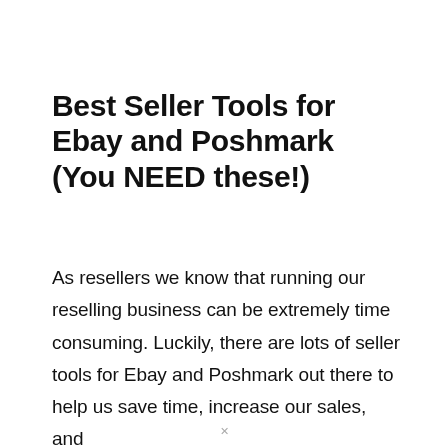Best Seller Tools for Ebay and Poshmark (You NEED these!)
As resellers we know that running our reselling business can be extremely time consuming. Luckily, there are lots of seller tools for Ebay and Poshmark out there to help us save time, increase our sales, and